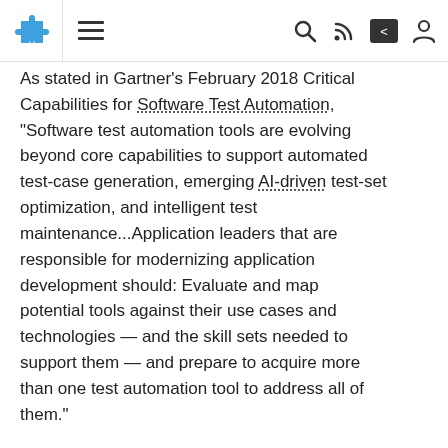[Navigation bar with puzzle icon, hamburger menu, search, RSS, share, and user icons]
As stated in Gartner's February 2018 Critical Capabilities for Software Test Automation, "Software test automation tools are evolving beyond core capabilities to support automated test-case generation, emerging AI-driven test-set optimization, and intelligent test maintenance...Application leaders that are responsible for modernizing application development should: Evaluate and map potential tools against their use cases and technologies — and the skill sets needed to support them — and prepare to acquire more than one test automation tool to address all of them."